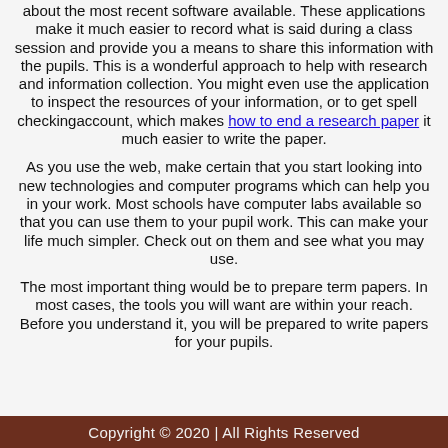about the most recent software available. These applications make it much easier to record what is said during a class session and provide you a means to share this information with the pupils. This is a wonderful approach to help with research and information collection. You might even use the application to inspect the resources of your information, or to get spell checkingaccount, which makes how to end a research paper it much easier to write the paper.
As you use the web, make certain that you start looking into new technologies and computer programs which can help you in your work. Most schools have computer labs available so that you can use them to your pupil work. This can make your life much simpler. Check out on them and see what you may use.
The most important thing would be to prepare term papers. In most cases, the tools you will want are within your reach. Before you understand it, you will be prepared to write papers for your pupils.
Copyright © 2020 | All Rights Reserved